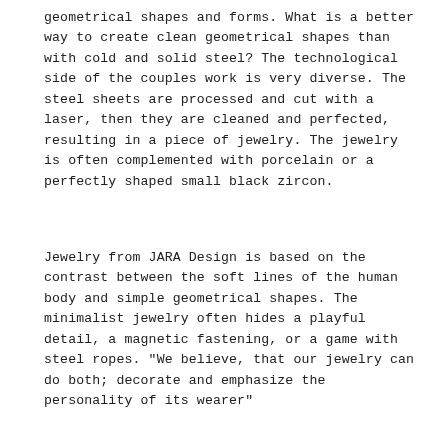geometrical shapes and forms. What is a better way to create clean geometrical shapes than with cold and solid steel? The technological side of the couples work is very diverse. The steel sheets are processed and cut with a laser, then they are cleaned and perfected, resulting in a piece of jewelry. The jewelry is often complemented with porcelain or a perfectly shaped small black zircon.
Jewelry from JARA Design is based on the contrast between the soft lines of the human body and simple geometrical shapes. The minimalist jewelry often hides a playful detail, a magnetic fastening, or a game with steel ropes. "We believe, that our jewelry can do both; decorate and emphasize the personality of its wearer"